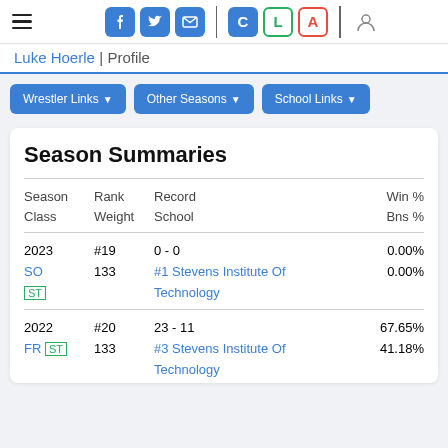Navigation bar with hamburger menu, social icons (Facebook, Twitter, Email), C/L/A buttons, and user icon
Luke Hoerle | Profile
Wrestler Links ▼
Other Seasons ▼
School Links ▼
Season Summaries
| Season
Class | Rank
Weight | Record
School | Win %
Bns % |
| --- | --- | --- | --- |
| 2023
SO ST | #19
133 | 0 - 0
#1 Stevens Institute Of Technology | 0.00%
0.00% |
| 2022
FR ST | #20
133 | 23 - 11
#3 Stevens Institute Of Technology | 67.65%
41.18% |